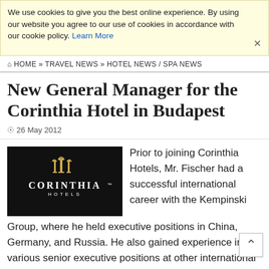We use cookies to give you the best online experience. By using our website you agree to our use of cookies in accordance with our cookie policy. Learn More
HOME » TRAVEL NEWS » HOTEL NEWS / SPA NEWS
New General Manager for the Corinthia Hotel in Budapest
26 May 2012
[Figure (logo): Corinthia Hotels logo: dark background with gold architectural icon above white text 'CORINTHIA' and 'HOTELS' in smaller white letters below]
Prior to joining Corinthia Hotels, Mr. Fischer had a successful international career with the Kempinski Group, where he held executive positions in China, Germany, and Russia. He also gained experience in various senior executive positions at other international